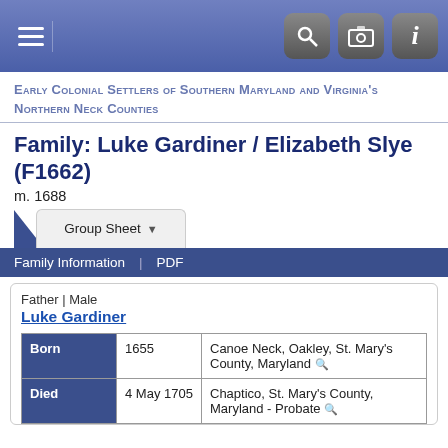[Figure (screenshot): Navigation bar with hamburger menu icon on left, and search, camera, info icon buttons on right, on a blue-purple gradient background]
Early Colonial Settlers of Southern Maryland and Virginia's Northern Neck Counties
Family: Luke Gardiner / Elizabeth Slye (F1662)
m. 1688
[Figure (screenshot): Group Sheet dropdown tab button and blue Family Information | PDF menu bar]
Father | Male
Luke Gardiner
|  |  |  |
| --- | --- | --- |
| Born | 1655 | Canoe Neck, Oakley, St. Mary's County, Maryland 🔍 |
| Died | 4 May 1705 | Chaptico, St. Mary's County, Maryland - Probate 🔍 |